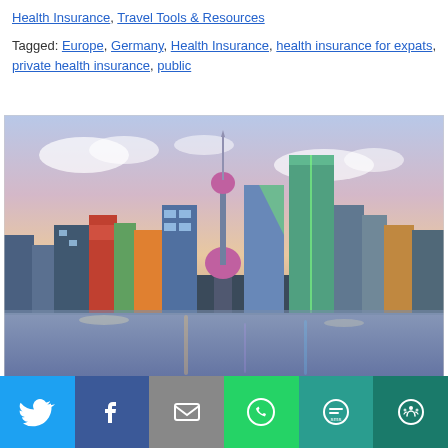Health Insurance, Travel Tools & Resources
Tagged: Europe, Germany, Health Insurance, health insurance for expats, private health insurance, public
[Figure (photo): City skyline photograph showing Shanghai waterfront at dusk with the Oriental Pearl Tower and modern skyscrapers reflected in water]
7 Best Health
[Figure (infographic): Social sharing bar with Twitter, Facebook, Email, WhatsApp, SMS, and More buttons in blue, dark blue, gray, green, teal, and dark teal colors]